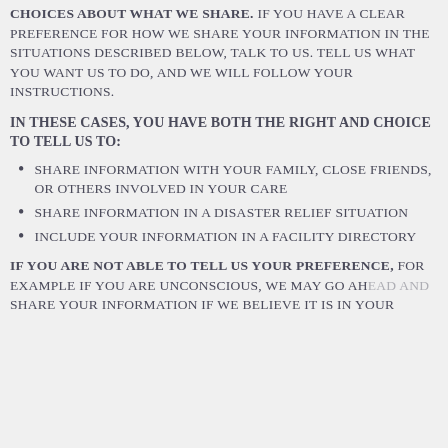CHOICES ABOUT WHAT WE SHARE. IF YOU HAVE A CLEAR PREFERENCE FOR HOW WE SHARE YOUR INFORMATION IN THE SITUATIONS DESCRIBED BELOW, TALK TO US. TELL US WHAT YOU WANT US TO DO, AND WE WILL FOLLOW YOUR INSTRUCTIONS.
IN THESE CASES, YOU HAVE BOTH THE RIGHT AND CHOICE TO TELL US TO:
SHARE INFORMATION WITH YOUR FAMILY, CLOSE FRIENDS, OR OTHERS INVOLVED IN YOUR CARE
SHARE INFORMATION IN A DISASTER RELIEF SITUATION
INCLUDE YOUR INFORMATION IN A FACILITY DIRECTORY
IF YOU ARE NOT ABLE TO TELL US YOUR PREFERENCE, FOR EXAMPLE IF YOU ARE UNCONSCIOUS, WE MAY GO AHEAD AND SHARE YOUR INFORMATION IF WE BELIEVE IT IS IN YOUR